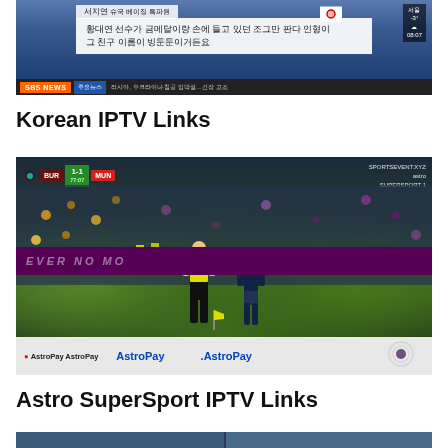[Figure (screenshot): Korean SBS News broadcast screenshot showing a subtitle box with Korean text about a panda doll, with SBS NEWS ticker bar at bottom]
Korean IPTV Links
[Figure (screenshot): Soccer match broadcast screenshot showing BUR 1-1 MUN scoreboard, referee at corner flag, AstroPay advertising boards, SPORTSEVENT.XYZ astro SUPERSPORT watermark]
Astro SuperSport IPTV Links
[Figure (screenshot): Partial screenshot at bottom of page, partially visible]